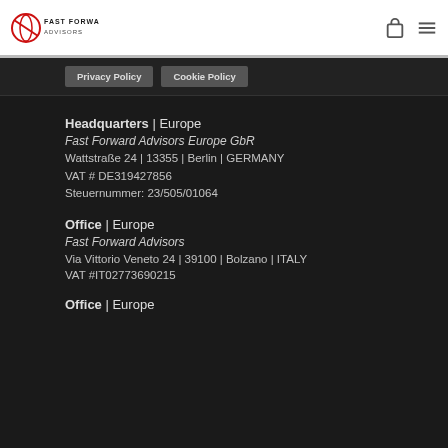[Figure (logo): Fast Forward Advisors logo with red swoosh icon and company name text]
Privacy Policy   Cookie Policy
Headquarters | Europe
Fast Forward Advisors Europe GbR
Wattstraße 24 | 13355 | Berlin | GERMANY
VAT # DE319427856
Steuernummer: 23/505/01064
Office | Europe
Fast Forward Advisors
Via Vittorio Veneto 24 | 39100 | Bolzano | ITALY
VAT #IT02773690215
Office | Europe